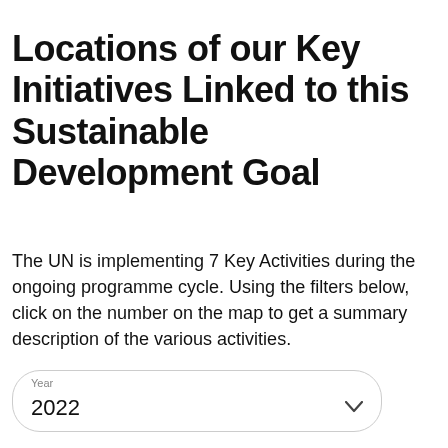Locations of our Key Initiatives Linked to this Sustainable Development Goal
The UN is implementing 7 Key Activities during the ongoing programme cycle. Using the filters below, click on the number on the map to get a summary description of the various activities.
Year 2022